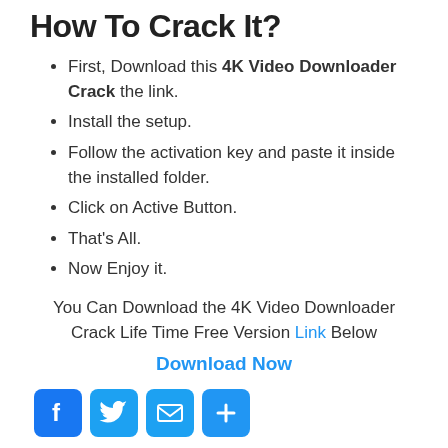How To Crack It?
First, Download this 4K Video Downloader Crack the link.
Install the setup.
Follow the activation key and paste it inside the installed folder.
Click on Active Button.
That's All.
Now Enjoy it.
You Can Download the 4K Video Downloader Crack Life Time Free Version Link Below
Download Now
[Figure (illustration): Social share icons: Facebook, Twitter, Email, and Add/More buttons]